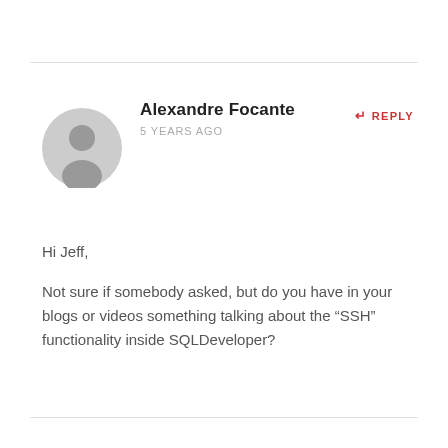Alexandre Focante
5 YEARS AGO
↵ REPLY
[Figure (illustration): Generic user avatar icon — grey circle with grey silhouette of a person]
Hi Jeff,
Not sure if somebody asked, but do you have in your blogs or videos something talking about the “SSH” functionality inside SQLDeveloper?